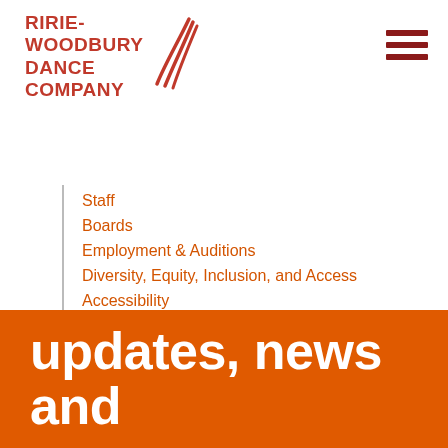[Figure (logo): Ririe-Woodbury Dance Company logo with red text and swoosh mark]
Staff
Boards
Employment & Auditions
Diversity, Equity, Inclusion, and Access
Accessibility
updates, news and